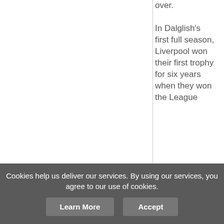over.
In Dalglish's first full season, Liverpool won their first trophy for six years when they won the League
[Figure (infographic): Social share buttons column: Facebook (blue), Twitter (light blue), Pinterest (red), Tumblr (dark blue/navy), Share/Plus (light blue)]
Cookies help us deliver our services. By using our services, you agree to our use of cookies.
Learn More  Accept